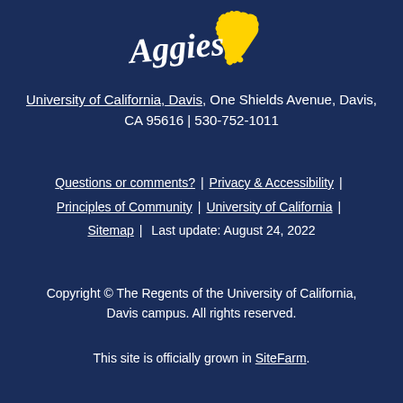[Figure (logo): UC Davis Aggies logo with script text and California state shape in gold]
University of California, Davis, One Shields Avenue, Davis, CA 95616 | 530-752-1011
Questions or comments? | Privacy & Accessibility | Principles of Community | University of California | Sitemap | Last update: August 24, 2022
Copyright © The Regents of the University of California, Davis campus. All rights reserved.
This site is officially grown in SiteFarm.